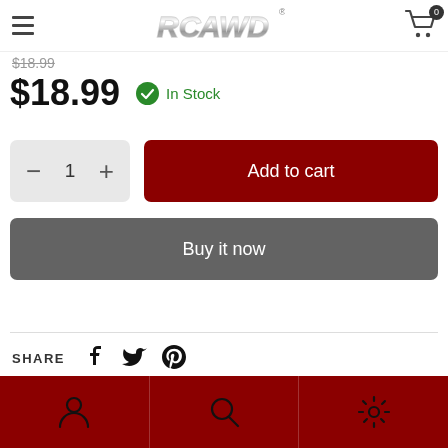RCAWD — Navigation header with hamburger menu, logo, and cart icon (0 items)
$18.99 (strikethrough original price)
$18.99  In Stock
− 1 +  Add to cart
Buy it now
SHARE
Bottom navigation bar with account, search, and settings icons